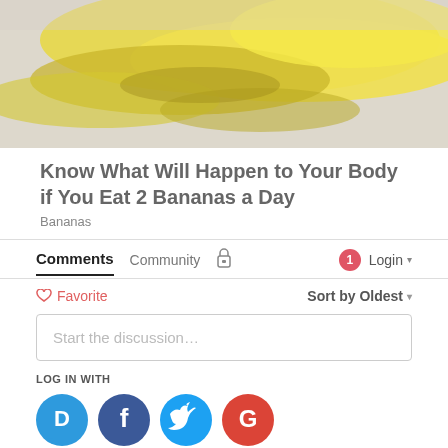[Figure (photo): Photo of yellow bananas on a light background, cropped showing the top portion]
Know What Will Happen to Your Body if You Eat 2 Bananas a Day
Bananas
Comments  Community  🔒  🔴1  Login ▾
♡ Favorite    Sort by Oldest ▾
Start the discussion…
LOG IN WITH
[Figure (infographic): Social login icons: Disqus (blue circle D), Facebook (dark blue circle f), Twitter (light blue circle bird), Google (red circle G)]
OR SIGN UP WITH DISQUS ?
Name